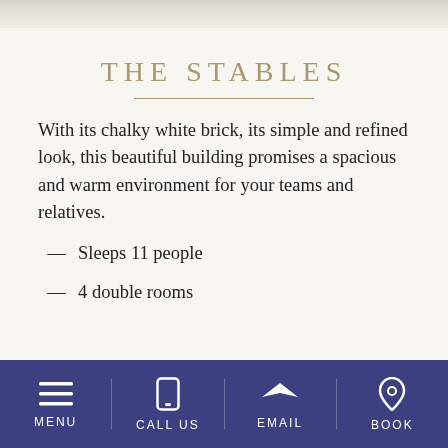[Figure (photo): Top portion of a photo showing chalky white building/stables, partially visible at top of page]
THE STABLES
With its chalky white brick, its simple and refined look, this beautiful building promises a spacious and warm environment for your teams and relatives.
— Sleeps 11 people
— 4 double rooms
MENU  CALL US  EMAIL  BOOK